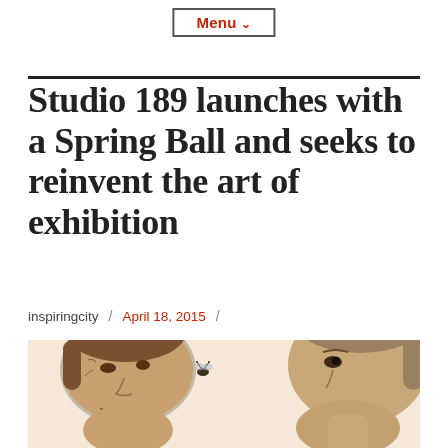Menu ∨
Studio 189 launches with a Spring Ball and seeks to reinvent the art of exhibition
inspiringcity / April 18, 2015 /
[Figure (photo): Sepia-toned close-up photo of two people's faces, one on the left laughing, one on the right looking to the side, with a small illustrated insect/bee between them]